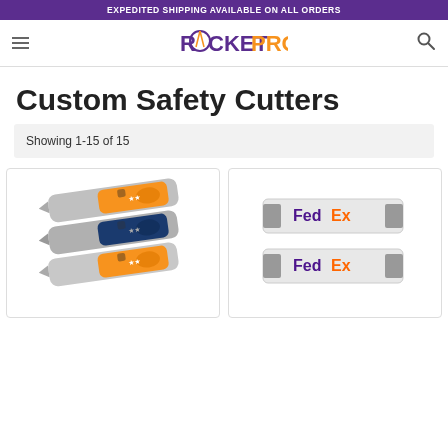EXPEDITED SHIPPING AVAILABLE ON ALL ORDERS
[Figure (logo): RocketPromo logo with stylized rocket icon, purple ROCKET and orange PROMO text]
Custom Safety Cutters
Showing 1-15 of 15
[Figure (photo): Three custom safety box cutters/utility knives stacked, orange, blue and orange colorways with logo imprint]
[Figure (photo): Two white safety cutters with FedEx logo imprint in purple and orange]